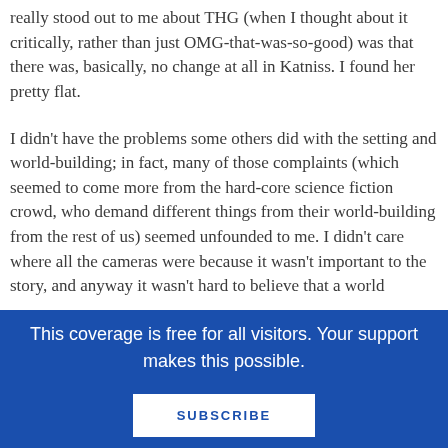really stood out to me about THG (when I thought about it critically, rather than just OMG-that-was-so-good) was that there was, basically, no change at all in Katniss. I found her pretty flat.
I didn't have the problems some others did with the setting and world-building; in fact, many of those complaints (which seemed to come more from the hard-core science fiction crowd, who demand different things from their world-building from the rest of us) seemed unfounded to me. I didn't care where all the cameras were because it wasn't important to the story, and anyway it wasn't hard to believe that a world
This coverage is free for all visitors. Your support makes this possible.
SUBSCRIBE